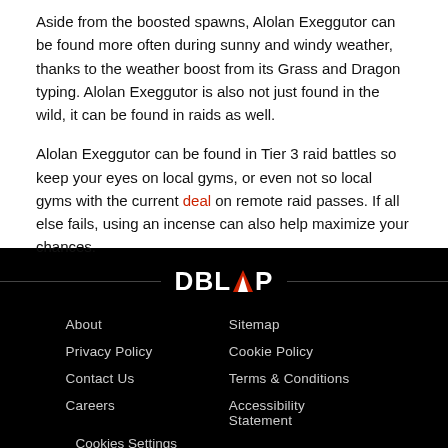Aside from the boosted spawns, Alolan Exeggutor can be found more often during sunny and windy weather, thanks to the weather boost from its Grass and Dragon typing. Alolan Exeggutor is also not just found in the wild, it can be found in raids as well.
Alolan Exeggutor can be found in Tier 3 raid battles so keep your eyes on local gyms, or even not so local gyms with the current deal on remote raid passes. If all else fails, using an incense can also help maximize your chances.
[Figure (logo): DBLTAP logo in white bold text with a red triangle replacing the letter A]
About | Sitemap | Privacy Policy | Cookie Policy | Contact Us | Terms & Conditions | Careers | Accessibility Statement | Cookies Settings